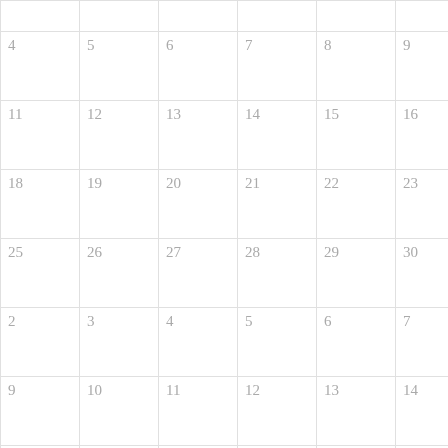|  |  |  |  |  |  |  |
| --- | --- | --- | --- | --- | --- | --- |
|  |  |  |  |  |  |  |
| 4 | 5 | 6 | 7 | 8 | 9 | 10 |
| 11 | 12 | 13 | 14 | 15 | 16 | 17 |
| 18 | 19 | 20 | 21 | 22 | 23 | 24 |
| 25 | 26 | 27 | 28 | 29 | 30 | 1 |
| 2 | 3 | 4 | 5 | 6 | 7 | 8 |
| 9 | 10 | 11 | 12 | 13 | 14 | 15 |
| 16 | 17 | 18 | 19 | 20 | 21 | 22 |